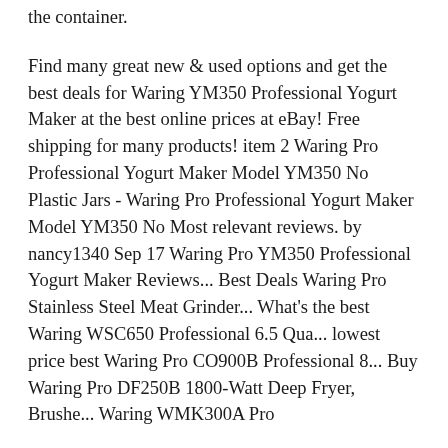the container.
Find many great new & used options and get the best deals for Waring YM350 Professional Yogurt Maker at the best online prices at eBay! Free shipping for many products! item 2 Waring Pro Professional Yogurt Maker Model YM350 No Plastic Jars - Waring Pro Professional Yogurt Maker Model YM350 No Most relevant reviews. by nancy1340 Sep 17 Waring Pro YM350 Professional Yogurt Maker Reviews... Best Deals Waring Pro Stainless Steel Meat Grinder... What's the best Waring WSC650 Professional 6.5 Qua... lowest price best Waring Pro CO900B Professional 8... Buy Waring Pro DF250B 1800-Watt Deep Fryer, Brushe... Waring WMK300A Pro